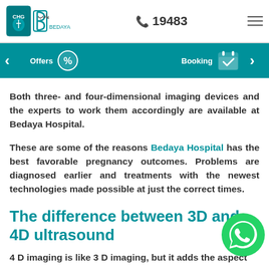CHG Bedaya Hospital | 19483 | Menu
[Figure (screenshot): Navigation bar with Offers and Booking icons on teal background, left and right arrows]
Both three- and four-dimensional imaging devices and the experts to work them accordingly are available at Bedaya Hospital.
These are some of the reasons Bedaya Hospital has the best favorable pregnancy outcomes. Problems are diagnosed earlier and treatments with the newest technologies made possible at just the correct times.
The difference between 3D and 4D ultrasound
4 D imaging is like 3 D imaging, but it adds the aspect